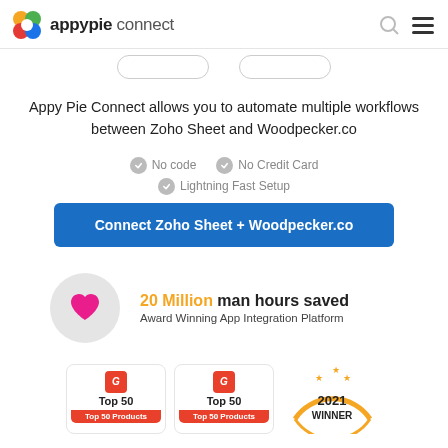appypie connect
Appy Pie Connect allows you to automate multiple workflows between Zoho Sheet and Woodpecker.co
No code
No Credit Card
Lightning Fast Setup
Connect Zoho Sheet + Woodpecker.co
[Figure (infographic): 20 Million man hours saved - Award Winning App Integration Platform, with heart icon in gray circle]
[Figure (infographic): G2 Top 50 badge cards and 2021 Winner award badge partially visible at bottom]